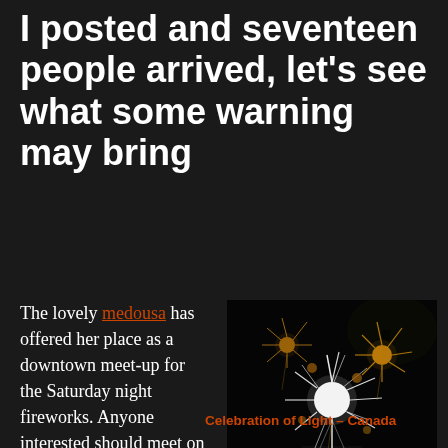I posted and seventeen people arrived, let's see what some warning may bring
The lovely medousa has offered her place as a downtown meet-up for the Saturday night fireworks. Anyone interested should meet on
[Figure (photo): Fireworks display over water at night, with bright white and golden bursts against a dark sky with trees silhouetted]
Celebration of Light – Canada